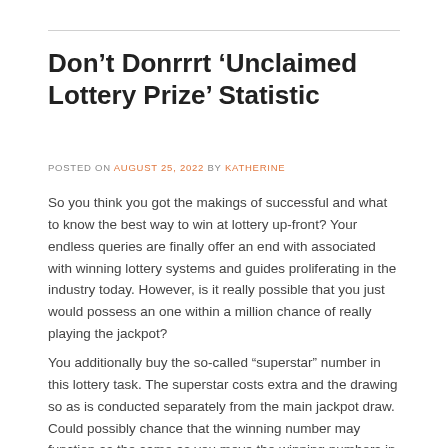Don't Donrrrt 'Unclaimed Lottery Prize' Statistic
POSTED ON AUGUST 25, 2022 BY KATHERINE
So you think you got the makings of successful and what to know the best way to win at lottery up-front? Your endless queries are finally offer an end with associated with winning lottery systems and guides proliferating in the industry today. However, is it really possible that you just would possess an one within a million chance of really playing the jackpot?
You additionally buy the so-called “superstar” number in this lottery task. The superstar costs extra and the drawing so as is conducted separately from the main jackpot draw. Could possibly chance that the winning number may function as the same as you move the winning numbers in typical drawing maybe the drawing